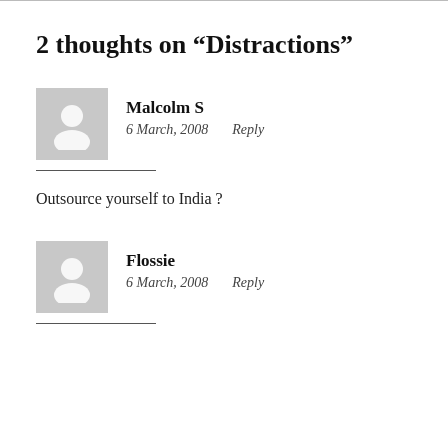2 thoughts on “Distractions”
Malcolm S
6 March, 2008   Reply
Outsource yourself to India ?
Flossie
6 March, 2008   Reply